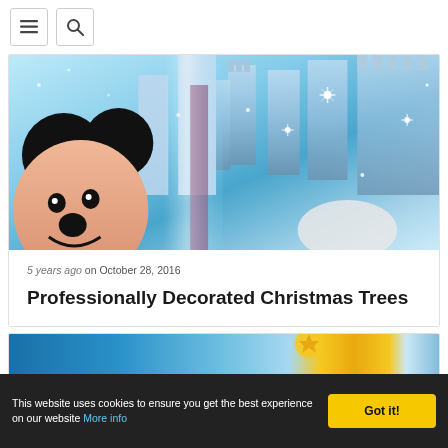[Navigation bar with menu and search icons]
[Figure (photo): Disney's Cinderella Castle with Mickey Mouse character in foreground, blue icy/snowy winter theme with sparkles and glitter effects]
5 years ago on October 28, 2016
Professionally Decorated Christmas Trees
[Figure (photo): Partial view of second article card with blue and yellow/gold themed image, partially visible]
This website uses cookies to ensure you get the best experience on our website More info